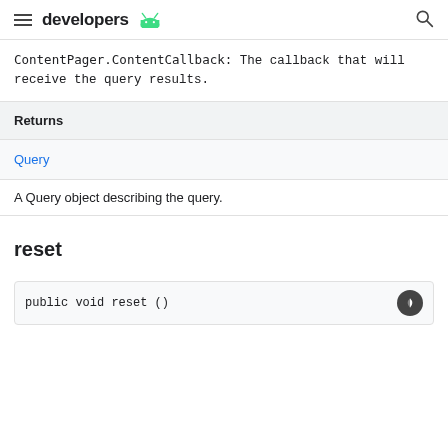developers
ContentPager.ContentCallback: The callback that will receive the query results.
| Returns |  |
| --- | --- |
| Query |  |
| A Query object describing the query. |  |
reset
public void reset ()